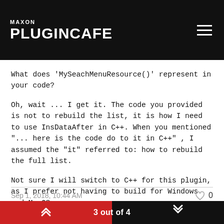MAXON PLUGINCAFE
What does 'MySeachMenuResource()' represent in your code?
Oh, wait ... I get it. The code you provided is not to rebuild the list, it is how I need to use InsDataAfter in C++. When you mentioned "... here is the code do to it in C++" , I assumed the "it" referred to: how to rebuild the full list.
Not sure I will switch to C++ for this plugin, as I prefer not having to build for Windows and MacOS.
So, I 'll need to figure out how to rebuild the list.
Sep 1, 2018, 10:44 AM   0   3 out of 4